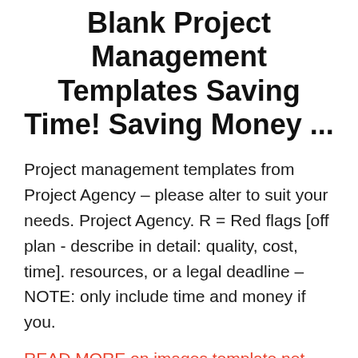Blank Project Management Templates Saving Time! Saving Money ...
Project management templates from Project Agency – please alter to suit your needs. Project Agency. R = Red flags [off plan - describe in detail: quality, cost, time]. resources, or a legal deadline – NOTE: only include time and money if you.
READ MORE on images.template.net